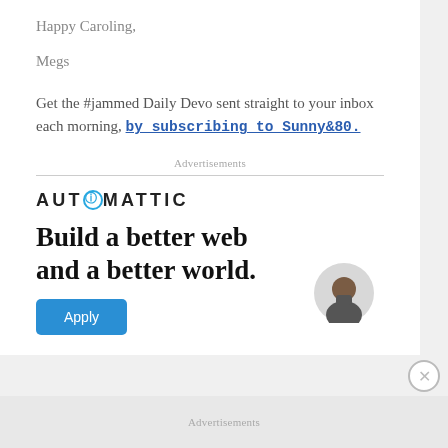Happy Caroling,
Megs
Get the #jammed Daily Devo sent straight to your inbox each morning, by subscribing to Sunny&80.
Advertisements
[Figure (infographic): Automattic advertisement: logo with stylized O, headline 'Build a better web and a better world.', blue Apply button, partial photo of person]
Advertisements